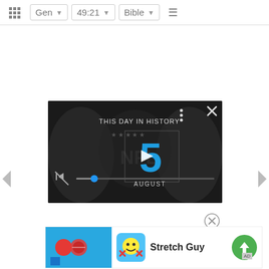Gen 49:21 Bible
[Figure (screenshot): Video ad overlay showing 'THIS DAY IN HISTORY' with number 5, AUGUST, play button, mute icon, and progress bar on dark background with people]
[Figure (screenshot): Bottom app advertisement for 'Stretch Guy' with colorful game icon, emoji icon, and green download button]